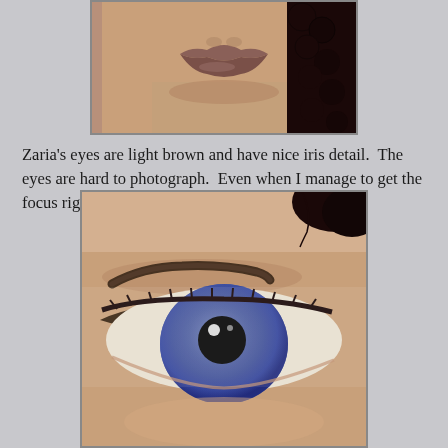[Figure (photo): Close-up photo of a doll's face showing lips and part of nose and chin, with curly dark hair visible on the right side. The doll has brown skin tone and mauve-colored lips.]
Zaria's eyes are light brown and have nice iris detail.  The eyes are hard to photograph.  Even when I manage to get the focus right, they appear ever-so-slightly foggy:
[Figure (photo): Close-up macro photo of a doll's eye showing iris detail. The eye appears light/lavender-blue with detailed iris texture, prominent black eyelashes and eyebrow, and appears slightly foggy. Brown skin tone surrounds the eye.]